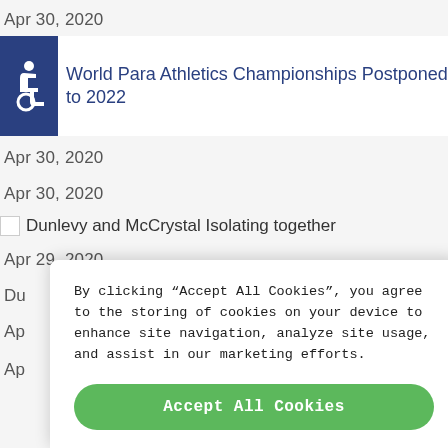Apr 30, 2020
[Figure (illustration): Accessibility icon (wheelchair symbol) in dark blue square, next to article title: World Para Athletics Championships Postponed to 2022]
World Para Athletics Championships Postponed to 2022
Apr 30, 2020
Apr 30, 2020
[Figure (photo): Broken image placeholder next to text: Dunlevy and McCrystal Isolating together]
Apr 29, 2020
Du
Ap
Ap
By clicking “Accept All Cookies”, you agree to the storing of cookies on your device to enhance site navigation, analyze site usage, and assist in our marketing efforts.
Accept All Cookies